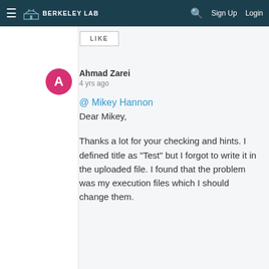BERKELEY LAB  Sign Up  Login
LIKE
Ahmad Zarei
4 yrs ago
@ Mikey Hannon
Dear Mikey,

Thanks a lot for your checking and hints. I defined title as "Test" but I forgot to write it in the uploaded file. I found that the problem was my execution files which I should change them.